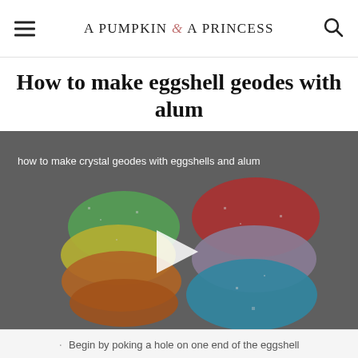A PUMPKIN & A PRINCESS
How to make eggshell geodes with alum
[Figure (photo): Video thumbnail showing stacked colorful crystal geodes made from eggshells — green, yellow, orange on left; red, purple, blue on right — with a white play button triangle in the center. Text overlay reads: 'how to make crystal geodes with eggshells and alum']
Begin by poking a hole on one end of the eggshell